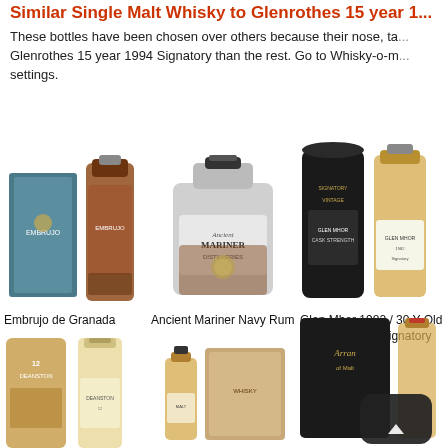Similar Single Malt Whisky to Glenrothes 15 year 1...
These bottles have been chosen over others because their nose, ta... Glenrothes 15 year 1994 Signatory than the rest. Go to Whisky-o-m... settings.
[Figure (photo): Embrujo de Granada whisky bottle with box]
Embrujo de Granada
[Figure (photo): Ancient Mariner Navy Rum bottle]
Ancient Mariner Navy Rum
[Figure (photo): Glen Mhor 1982 / 30 Year Old / Cask #1606 / Signatory Speyside W... bottle with box]
Glen Mhor 1982 / 30 Y Old / Cask #1606 / Signatory Speyside W
[Figure (photo): Deanston 12 whisky bottle with tube]
[Figure (photo): Small whisky bottle with wooden box]
[Figure (photo): Arran whisky bottle with dark box and scroll button overlay]